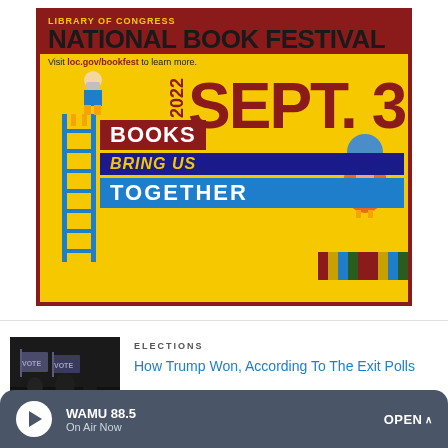[Figure (illustration): Library of Congress National Book Festival advertisement poster. Yellow background with dark red border. Text reads: LIBRARY OF CONGRESS, NATIONAL BOOK FESTIVAL, Visit loc.gov/bookfest to learn more. 2022 SEPT. 3, BOOKS BRING US TOGETHER. Features illustrated characters including a person on a ladder and a bird reading a book.]
ELECTIONS
How Trump Won, According To The Exit Polls
[Figure (photo): Dark thumbnail photo showing people at what appears to be a voting location with VOTE signs visible.]
WAMU 88.5
On Air Now